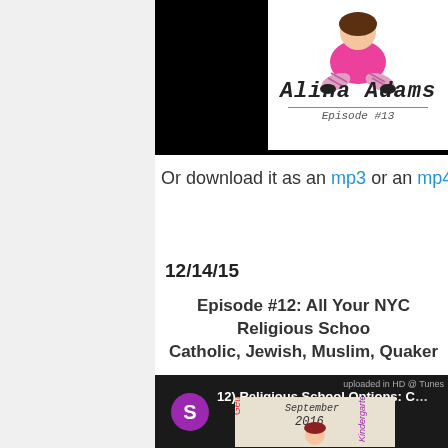[Figure (screenshot): Episode #13 podcast card showing Alina Adams name in handwritten font with a girl sitting cross-legged, on dark background]
Or download it as an mp3 or an mp4 t
12/14/15
Episode #12: All Your NYC Religious Schoo... Catholic, Jewish, Muslim, Quaker...
[Figure (screenshot): Video thumbnail showing purple S avatar and title '12) Religious School Options: C...' with kindergarten imagery showing September 2016]